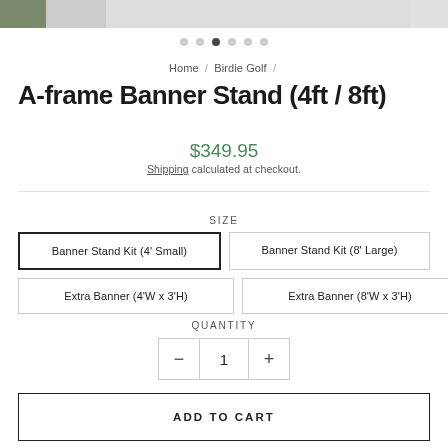[Figure (photo): Product image strip showing banner stands, partially visible at top of page]
Home / Birdie Golf /
A-frame Banner Stand (4ft / 8ft)
$349.95
Shipping calculated at checkout.
SIZE
Banner Stand Kit (4' Small)
Banner Stand Kit (8' Large)
Extra Banner (4'W x 3'H)
Extra Banner (8'W x 3'H)
QUANTITY
1
ADD TO CART